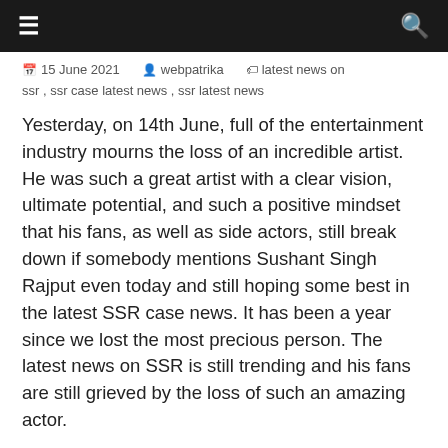≡   Q
15 June 2021   webpatrika   latest news on ssr, ssr case latest news, ssr latest news
Yesterday, on 14th June, full of the entertainment industry mourns the loss of an incredible artist. He was such a great artist with a clear vision, ultimate potential, and such a positive mindset that his fans, as well as side actors, still break down if somebody mentions Sushant Singh Rajput even today and still hoping some best in the latest SSR case news. It has been a year since we lost the most precious person. The latest news on SSR is still trending and his fans are still grieved by the loss of such an amazing actor.
He was found dead on 14th June 2020, in this own